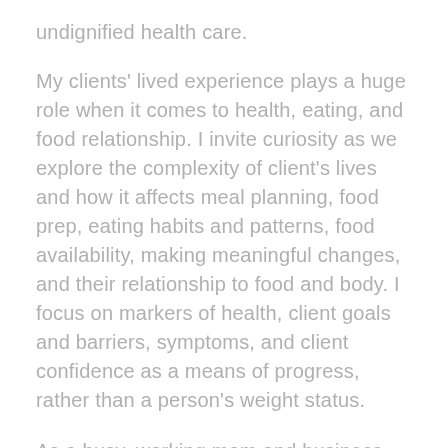undignified health care.
My clients' lived experience plays a huge role when it comes to health, eating, and food relationship. I invite curiosity as we explore the complexity of client's lives and how it affects meal planning, food prep, eating habits and patterns, food availability, making meaningful changes, and their relationship to food and body. I focus on markers of health, client goals and barriers, symptoms, and client confidence as a means of progress, rather than a person's weight status.
As a busy, working mom and business owner, I also appreciate simplicity, flexibility, and sustainability in nutrition planning along with a curious, non-diet approach to food and eating.